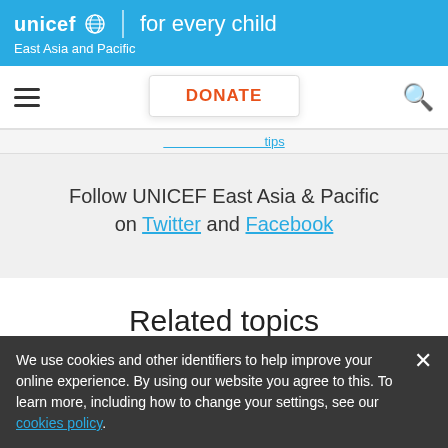unicef for every child | East Asia and Pacific
DONATE
Follow UNICEF East Asia & Pacific on Twitter and Facebook
Related topics
We use cookies and other identifiers to help improve your online experience. By using our website you agree to this. To learn more, including how to change your settings, see our cookies policy.